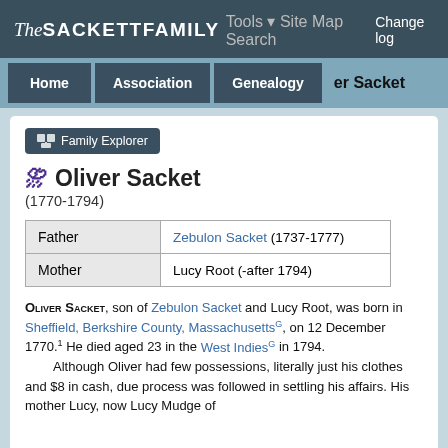The Sackett Family Association  Change log
Home  Association  Genealogy  Oliver Sacket
Family Explorer
Oliver Sacket
(1770-1794)
|  |  |
| --- | --- |
| Father | Zebulon Sacket (1737-1777) |
| Mother | Lucy Root (-after 1794) |
Oliver Sacket, son of Zebulon Sacket and Lucy Root, was born in Sheffield, Berkshire County, Massachusetts G, on 12 December 1770.1 He died aged 23 in the West Indies G in 1794.
    Although Oliver had few possessions, literally just his clothes and $8 in cash, due process was followed in settling his affairs. His mother Lucy, now Lucy Mudge of